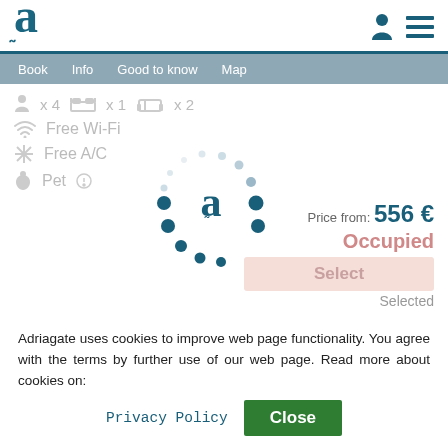[Figure (logo): Adriagate logo: large letter 'a' with tilde underneath in teal/dark blue]
Book  Info  Good to know  Map
[Figure (infographic): Room amenities: person x4, bed x1, sofa/bunk x2, Free Wi-Fi, Free A/C, Pet]
Price from: 556 €
Occupied
Select
Selected
Guest:
[Figure (other): Loading spinner with Adriagate 'a' logo in center]
Adriagate uses cookies to improve web page functionality. You agree with the terms by further use of our web page. Read more about cookies on:
Privacy Policy
Close